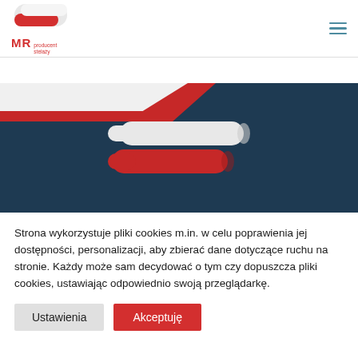[Figure (logo): MR producent stelaży logo with red and white curved shape]
[Figure (illustration): Dark navy blue hero banner with red diagonal stripe and white diagonal stripe at top, featuring a product image of two curved metal slats in white and red]
Strona wykorzystuje pliki cookies m.in. w celu poprawienia jej dostępności, personalizacji, aby zbierać dane dotyczące ruchu na stronie. Każdy może sam decydować o tym czy dopuszcza pliki cookies, ustawiając odpowiednio swoją przeglądarkę.